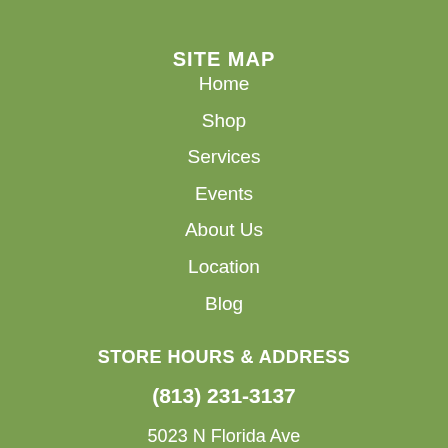SITE MAP
Home
Shop
Services
Events
About Us
Location
Blog
STORE HOURS & ADDRESS
(813) 231-3137
5023 N Florida Ave
Tampa, FL 33603